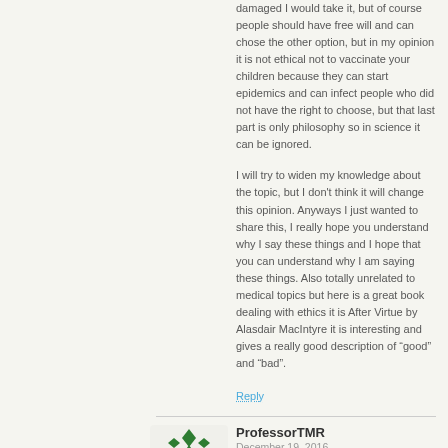damaged I would take it, but of course people should have free will and can chose the other option, but in my opinion it is not ethical not to vaccinate your children because they can start epidemics and can infect people who did not have the right to choose, but that last part is only philosophy so in science it can be ignored.
I will try to widen my knowledge about the topic, but I don't think it will change this opinion. Anyways I just wanted to share this, I really hope you understand why I say these things and I hope that you can understand why I am saying these things. Also totally unrelated to medical topics but here is a great book dealing with ethics it is After Virtue by Alasdair MacIntyre it is interesting and gives a really good description of “good” and “bad”.
Reply
[Figure (illustration): Green diamond pattern avatar icon for ProfessorTMR]
ProfessorTMR
December 19, 2016
Excellent! You are THINKING! You have made the entirely rational inference that not all vaccines are created equal. And you are